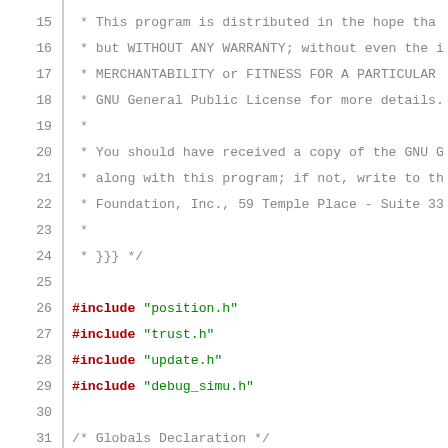Source code listing lines 15-41, showing C code with includes, globals declaration, and update function beginning.